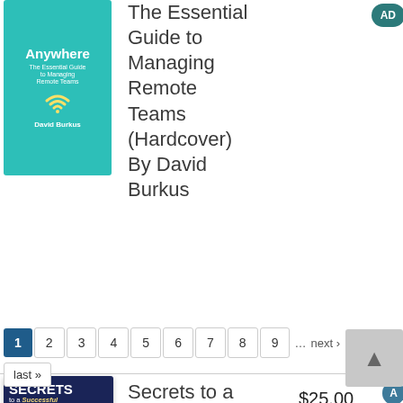[Figure (illustration): Book cover: 'Lead Anywhere — The Essential Guide to Managing Remote Teams' by David Burkus, teal background with WiFi icon]
The Essential Guide to Managing Remote Teams (Hardcover) By David Burkus
[Figure (illustration): Book cover: 'Secrets to a Successful Pediatric Practice' by Cliff D. James III MD, dark blue cover with medical illustration]
Secrets to a Successful Pediatric Practice (Paperback) By Cliff D. James III, MD
$25.00
1 2 3 4 5 6 7 8 9 … next › last »